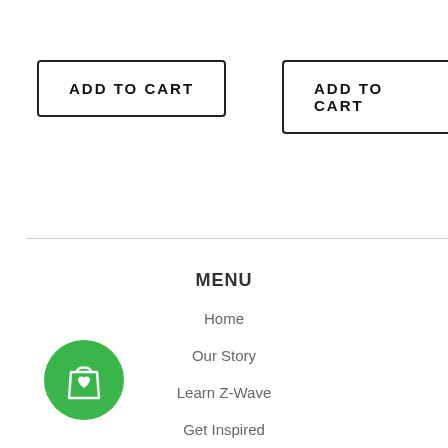[Figure (other): ADD TO CART button, left side, black border rectangle]
[Figure (other): ADD TO CART button, right side, black border rectangle, partially cropped]
Home
Our Story
Learn Z-Wave
Get Inspired
Blog
[Figure (other): Green circular shopping cart with heart icon, bottom left]